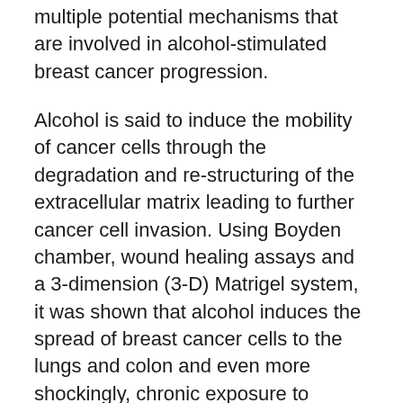multiple potential mechanisms that are involved in alcohol-stimulated breast cancer progression.
Alcohol is said to induce the mobility of cancer cells through the degradation and re-structuring of the extracellular matrix leading to further cancer cell invasion. Using Boyden chamber, wound healing assays and a 3-dimension (3-D) Matrigel system, it was shown that alcohol induces the spread of breast cancer cells to the lungs and colon and even more shockingly, chronic exposure to alcohol lead to less aggressive cancer cells transforming into a more aggressive form. Additional evidence show that Matrix metalloproteinases (MMPs) have a crucial role in the degradation of ECM, and it has been demonstrated that alcohol induces the actions of certain MMPs on ECM therefore increasing